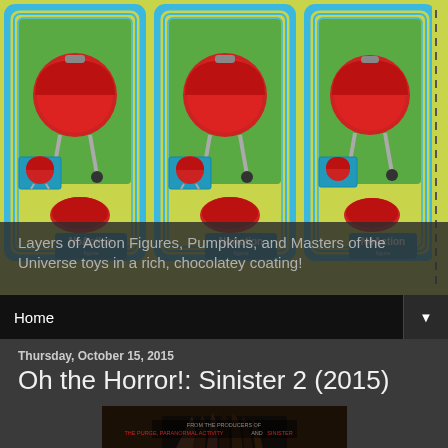[Figure (illustration): Blog header image showing three NoAction toy cards featuring red barbecue grills on a yellow-green background with blue accents. A dashed vertical strip is on the right side.]
Layers of Action Figures, Pumpkins, and Masters of the Universe toys in a rich, chocolatey coating!
Home ▼
Thursday, October 15, 2015
Oh the Horror!: Sinister 2 (2015)
[Figure (photo): Movie poster for Sinister 2 (2015) showing a dark creepy figure with long dark hair and a horrific face. Text at top reads 'FROM THE PRODUCERS OF THE PURGE, PARANORMAL ACTIVITY AND SINISTER'.]